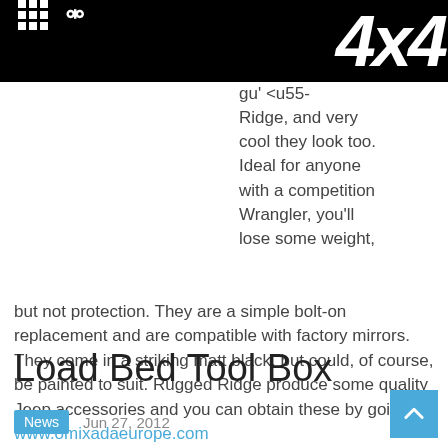4x4 [navigation header with grid icon and search icon]
gu' <u55- Ridge, and very cool they look too. Ideal for anyone with a competition Wrangler, you'll lose some weight, but not protection. They are a simple bolt-on replacement and are compatible with factory mirrors. They come in a striking matt black, but could, of course, be painted to suit. Rugged Ridge produce some quality Jeep accessories and you can obtain these by going to: www.omixadaeurope.com
Load Bed Tool Box
News  Jun 27, 2012